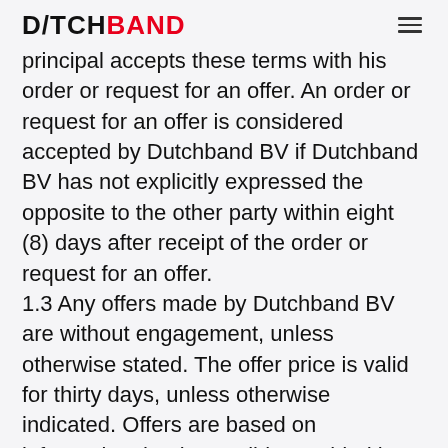DUTCHBAND
principal accepts these terms with his order or request for an offer. An order or request for an offer is considered accepted by Dutchband BV if Dutchband BV has not explicitly expressed the opposite to the other party within eight (8) days after receipt of the order or request for an offer. 1.3 Any offers made by Dutchband BV are without engagement, unless otherwise stated. The offer price is valid for thirty days, unless otherwise indicated. Offers are based on information that is possibly provided by the other